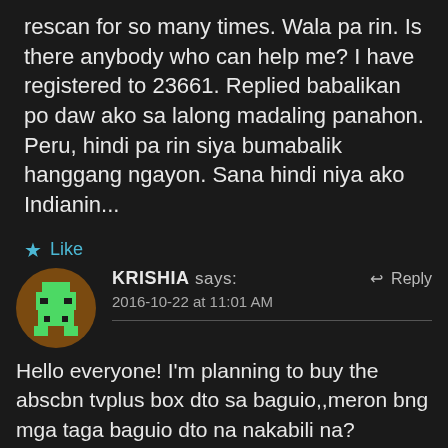rescan for so many times. Wala pa rin. Is there anybody who can help me? I have registered to 23661. Replied babalikan po daw ako sa lalong madaling panahon. Peru, hindi pa rin siya bumabalik hanggang ngayon. Sana hindi niya ako Indianin...
★ Like
KRISHIA says: 2016-10-22 at 11:01 AM ↩ Reply
Hello everyone! I'm planning to buy the abscbn tvplus box dto sa baguio,,meron bng mga taga baguio dto na nakabili na?